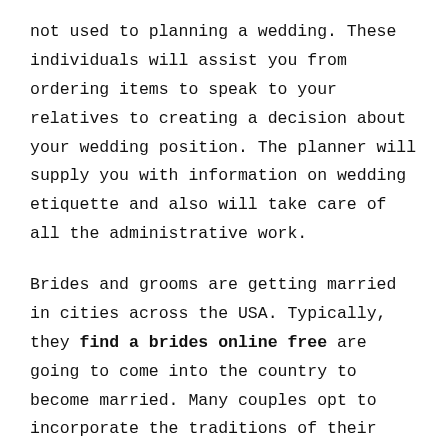not used to planning a wedding. These individuals will assist you from ordering items to speak to your relatives to creating a decision about your wedding position. The planner will supply you with information on wedding etiquette and also will take care of all the administrative work.
Brides and grooms are getting married in cities across the USA. Typically, they find a brides online free are going to come into the country to become married. Many couples opt to incorporate the traditions of their home country .
You need to consider where you will be staying once you have your last decision on the destination of your wedding.